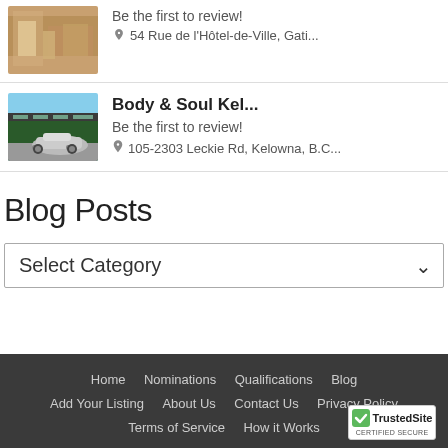[Figure (photo): Partial listing image - interior/optical shop]
Be the first to review!
54 Rue de l'Hôtel-de-Ville, Gati...
[Figure (photo): Building exterior with silver sports car (McLaren) in foreground]
Body & Soul Kel...
Be the first to review!
105-2303 Leckie Rd, Kelowna, B.C...
Blog Posts
Select Category
Home  Nominations  Qualifications  Blog  Add Your Listing  About Us  Contact Us  Privacy Policy  Terms of Service  How it Works